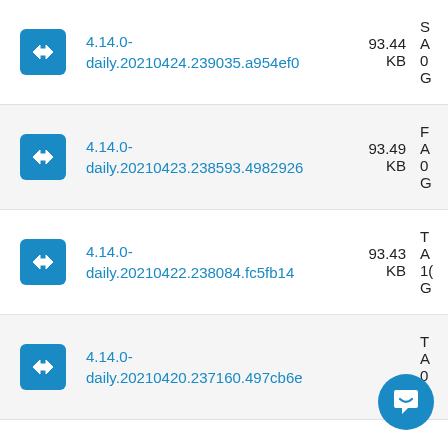4.14.0-daily.20210424.239035.a954ef0  93.44 KB
4.14.0-daily.20210423.238593.4982926  93.49 KB
4.14.0-daily.20210422.238084.fc5fb14  93.43 KB
4.14.0-daily.20210420.237160.497cb6e